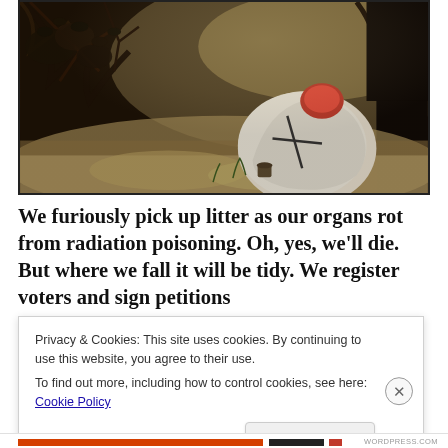[Figure (illustration): A dark, aged painting showing a figure in white with a red top/hat lying or crouching near tree branches and foliage, with dark earth tones and a gloomy atmospheric background.]
We furiously pick up litter as our organs rot from radiation poisoning. Oh, yes, we'll die. But where we fall it will be tidy. We register voters and sign petitions
Privacy & Cookies: This site uses cookies. By continuing to use this website, you agree to their use.
To find out more, including how to control cookies, see here: Cookie Policy